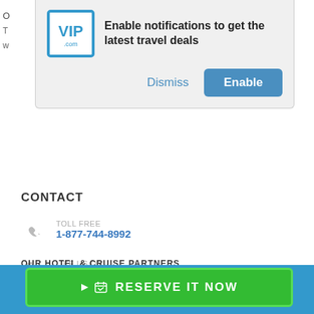[Figure (screenshot): Browser notification popup with VIP.com logo, text 'Enable notifications to get the latest travel deals', Dismiss link and Enable button]
CONTACT
TOLL FREE
1-877-744-8992
Like Us On
FACEBOOK
Watch Us On
YOUTUBE
OUR HOTEL & CRUISE PARTNERS
[Figure (photo): Partner hotel and cruise brand logos strip]
RESERVE IT NOW